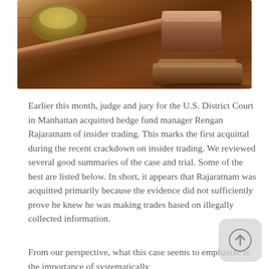[Figure (photo): Close-up photograph of a wooden judge's gavel resting on its sound block on a wooden surface]
Earlier this month, judge and jury for the U.S. District Court in Manhattan acquitted hedge fund manager Rengan Rajaratnam of insider trading.  This marks the first acquittal during the recent crackdown on insider trading.  We reviewed several good summaries of the case and trial.  Some of the best are listed below.  In short, it appears that Rajaratnam was acquitted primarily because the evidence did not sufficiently prove he knew he was making trades based on illegally collected information.
From our perspective, what this case seems to emphasize is the importance of systematically